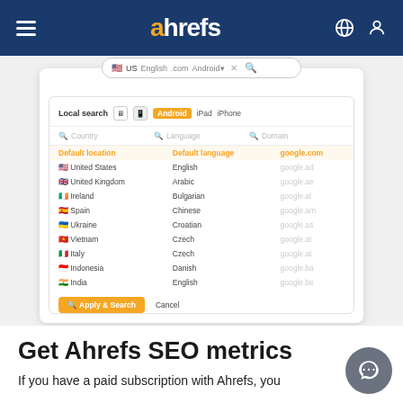ahrefs
[Figure (screenshot): Ahrefs keyword search tool UI showing local search dialog with tabs (Local search, Android, iPad, iPhone), search fields for Country, Language, Domain, a highlighted default row, and a list of countries (United States, United Kingdom, Ireland, Spain, Ukraine, Vietnam, Italy, Indonesia, India) with languages and google domain options. An orange 'Apply & Search' button and 'Cancel' button are at the bottom.]
Get Ahrefs SEO metrics
If you have a paid subscription with Ahrefs, you